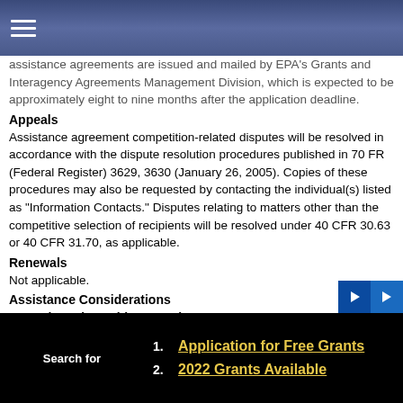Navigation header bar
assistance agreements are issued and mailed by EPA's Grants and Interagency Agreements Management Division, which is expected to be approximately eight to nine months after the application deadline.
Appeals
Assistance agreement competition-related disputes will be resolved in accordance with the dispute resolution procedures published in 70 FR (Federal Register) 3629, 3630 (January 26, 2005). Copies of these procedures may also be requested by contacting the individual(s) listed as &quot;Information Contacts.&quot; Disputes relating to matters other than the competitive selection of recipients will be resolved under 40 CFR 30.63 or 40 CFR 31.70, as applicable.
Renewals
Not applicable.
Assistance Considerations
Formula and Matching Requirements
Not applicable.
Length and Time Phasing of Assistance
Assistance will be provided through grants and cooperative agreements. EPA may provide support in the form of direct funding and/or in-kind assistance, in lieu of direct funding. EPA plans to issue awards for applications that are...
1. Application for Free Grants
2. 2022 Grants Available